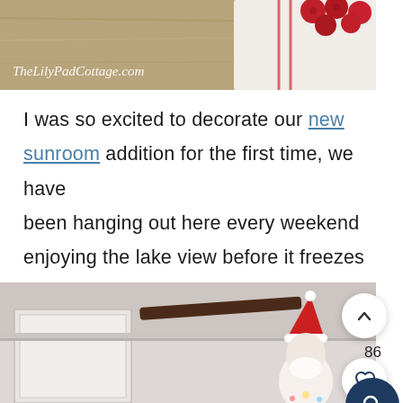[Figure (photo): Top portion of a lifestyle photo showing a wooden table with a striped cloth/towel and red cranberries, with TheLilyPadCottage.com watermark in the lower left corner.]
I was so excited to decorate our new sunroom addition for the first time, we have been hanging out here every weekend enjoying the lake view before it freezes over.
[Figure (photo): Interior photo of a sunroom showing a gray ceiling/door frame area with a dark wooden spoon resting on it and a small elf/gnome figure wearing a red Santa hat sitting on the ledge.]